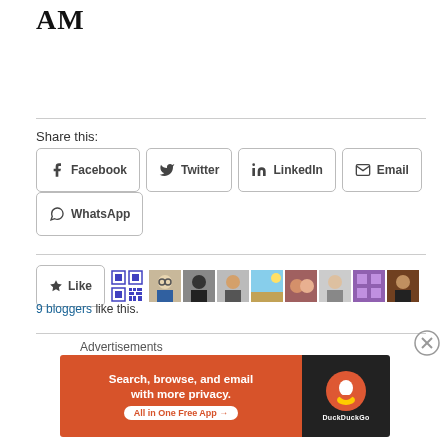AM
Share this:
[Figure (screenshot): Social share buttons: Facebook, Twitter, LinkedIn, Email, WhatsApp]
[Figure (screenshot): Like button with star icon, QR code, and 9 blogger avatars. 9 bloggers like this.]
9 bloggers like this.
Advertisements
[Figure (screenshot): DuckDuckGo advertisement banner: Search, browse, and email with more privacy. All in One Free App. DuckDuckGo logo on dark background.]